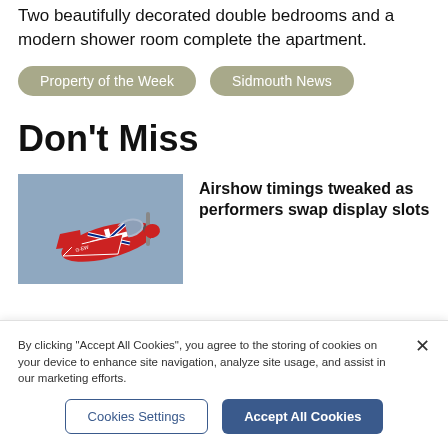Two beautifully decorated double bedrooms and a modern shower room complete the apartment.
Property of the Week
Sidmouth News
Don't Miss
[Figure (photo): A red, white and blue Union Jack-decorated small aircraft at an airshow, photographed against a grey-blue sky.]
Airshow timings tweaked as performers swap display slots
By clicking "Accept All Cookies", you agree to the storing of cookies on your device to enhance site navigation, analyze site usage, and assist in our marketing efforts.